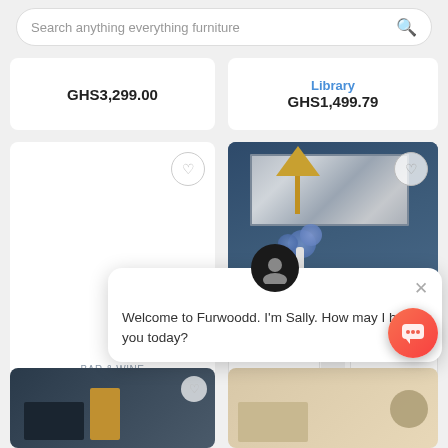[Figure (screenshot): Search bar with placeholder text 'Search anything everything furniture' and a magnifying glass icon]
GHS3,299.00
Library
GHS1,499.79
BAR & WINE
Maxuel Mini Bar Arena
GHS1,299.79
[Figure (photo): Room scene showing a sideboard/buffet with gold lamp, blue hydrangea flowers, abstract wall art, and gold decorative items]
GHS1,699.98
[Figure (screenshot): Chat popup overlay with avatar icon, close button, and greeting message: Welcome to Furwoodd. I'm Sally. How may I help you today?]
[Figure (photo): Bottom left product card showing furniture in dark room]
[Figure (photo): Bottom right product card showing light-colored furniture]